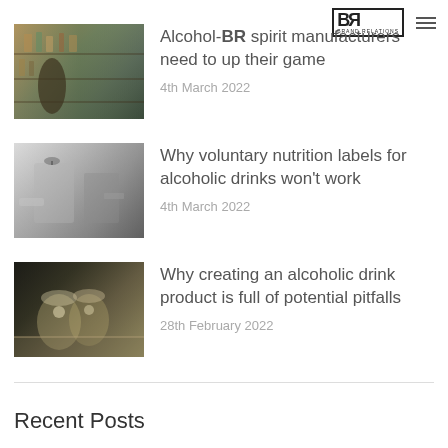[Figure (logo): BR Brand Relations logo with hamburger menu icon]
[Figure (photo): Person at liquor store shelves with bottles]
Alcohol-BR spirit manufacturers need to up their game
4th March 2022
[Figure (photo): Black and white photo of bar equipment and bottles]
Why voluntary nutrition labels for alcoholic drinks won't work
4th March 2022
[Figure (photo): Cocktail glasses with ice on a bar counter]
Why creating an alcoholic drink product is full of potential pitfalls
28th February 2022
Recent Posts